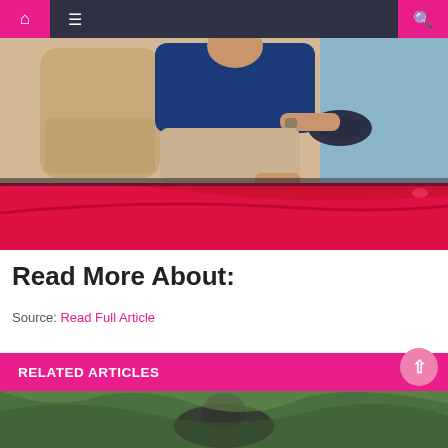Navigation bar with home, menu, and search icons
[Figure (photo): A person driving a red convertible car, seen from outside; beige leather interior visible, driver in blue shirt and khaki pants]
Read More About:
Source: Read Full Article
RELATED ARTICLES
[Figure (photo): Bottom thumbnail image partially visible, appears to show a dog or animal outdoors]